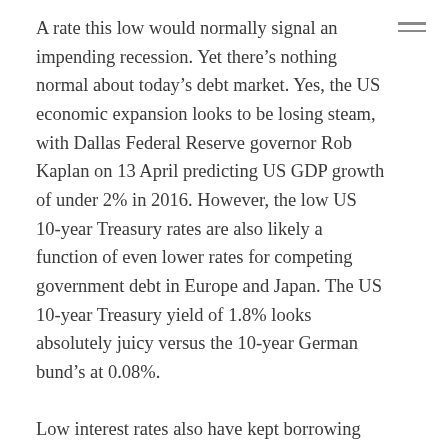A rate this low would normally signal an impending recession. Yet there's nothing normal about today's debt market. Yes, the US economic expansion looks to be losing steam, with Dallas Federal Reserve governor Rob Kaplan on 13 April predicting US GDP growth of under 2% in 2016. However, the low US 10-year Treasury rates are also likely a function of even lower rates for competing government debt in Europe and Japan. The US 10-year Treasury yield of 1.8% looks absolutely juicy versus the 10-year German bund's at 0.08%.
Low interest rates also have kept borrowing costs low for capital intensive chemical companies. For now, the chemical sector is enjoying some stronger tailwinds even amid slower global economic growth. After an